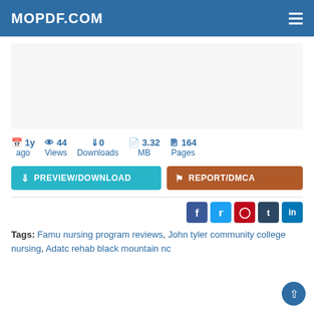MOPDF.COM
1y ago   44 Views   0 Downloads   3.32 MB   164 Pages
PREVIEW/DOWNLOAD   REPORT/DMCA
[Figure (infographic): Social sharing buttons: Facebook, Twitter, Pinterest, Tumblr, LinkedIn]
Tags: Famu nursing program reviews, John tyler community college nursing, Adatc rehab black mountain nc...